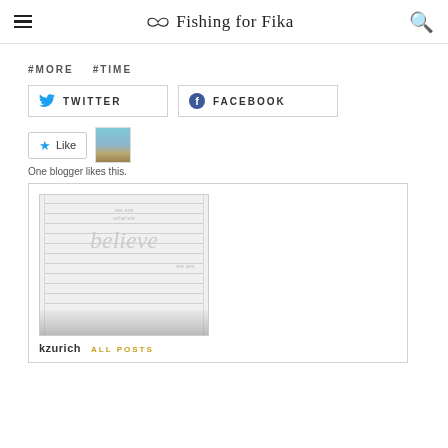Fishing for Fika
#MORE   #TIME
TWITTER   FACEBOOK
Like   One blogger likes this.
[Figure (screenshot): Blog post card preview showing lined paper design with the word 'believe' and text 'we are what we believe we are', with author kzurich and ALL POSTS link]